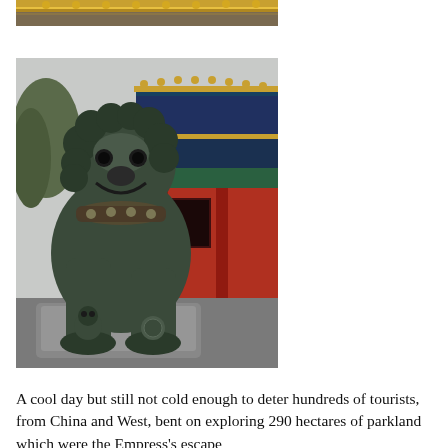[Figure (photo): Partial top view of colorful Chinese temple rooftop with gold and red decorative elements — cropped top portion only]
[Figure (photo): Bronze Chinese guardian lion (foo dog) statue seated on a stone pedestal, holding a small lion cub under its paw. In the background is a colorful red and gold Chinese temple/palace building with ornate roof decorations. Trees visible on the left side. The lion statue is large, dark greenish-bronze in color.]
A cool day but still not cold enough to deter hundreds of tourists, from China and West, bent on exploring 290 hectares of parkland which were the Empress's escape